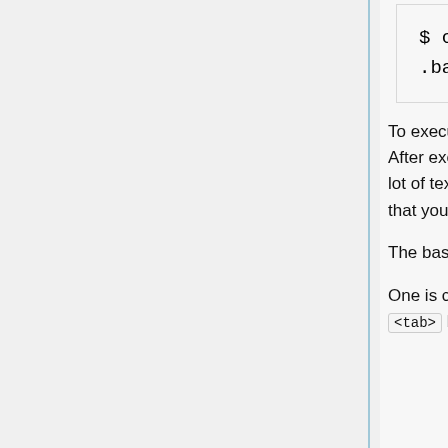$ cp .bashrc .bashrc.bak1
To execute the above commands you have to hit <Enter>. We'll just assume this. After executing a command, often the system will respond with text (sometimes a lot of text!) which we will usually not repeat below. We only give the commands that you should execute.
The bash shell which you will be using has a number of very convenient features.
One is command and file name completion. If you are typing (e.g. ch ) and hit <tab> bash will complete the command or filename if it is